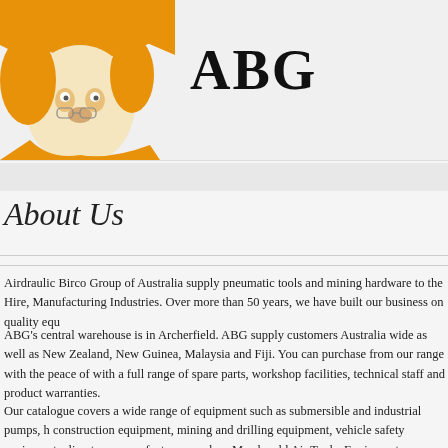[Figure (logo): ABG company logo with illustrated cartoon character in orange and cream tones on left, and bold text 'ABG' on right]
About Us
Airdraulic Birco Group of Australia supply pneumatic tools and mining hardware to the Hire, Manufacturing Industries. Over more than 50 years, we have built our business on quality equ
ABG's central warehouse is in Archerfield. ABG supply customers Australia wide as well as New Zealand, New Guinea, Malaysia and Fiji. You can purchase from our range with the peace of with a full range of spare parts, workshop facilities, technical staff and product warranties.
Our catalogue covers a wide range of equipment such as submersible and industrial pumps, h construction equipment, mining and drilling equipment, vehicle safety equipment, climate co manufacturers such as Macdonald Air Tools, Equipment Development Company (EDCO), AS